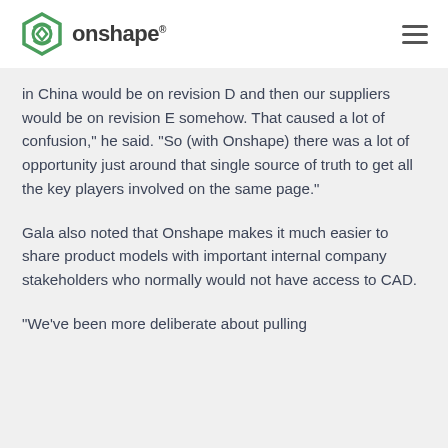onshape
in China would be on revision D and then our suppliers would be on revision E somehow. That caused a lot of confusion," he said. "So (with Onshape) there was a lot of opportunity just around that single source of truth to get all the key players involved on the same page."
Gala also noted that Onshape makes it much easier to share product models with important internal company stakeholders who normally would not have access to CAD.
"We've been more deliberate about pulling